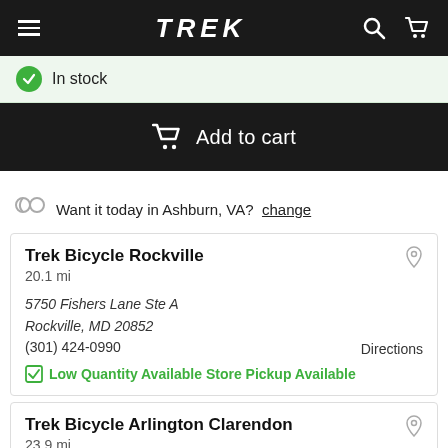TREK
In stock
Add to cart
Want it today in Ashburn, VA? change
Trek Bicycle Rockville
20.1 mi
5750 Fishers Lane Ste A
Rockville, MD 20852
(301) 424-0990
Directions
Low Quantity Available Store Pickup Available
Trek Bicycle Arlington Clarendon
23.9 mi